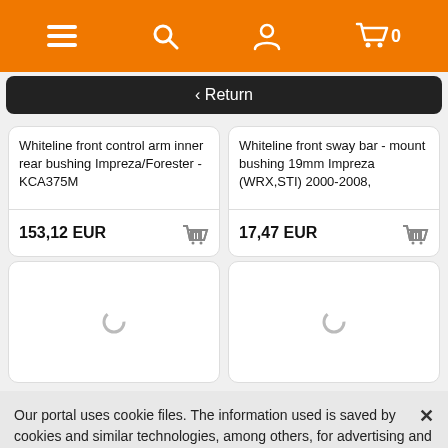[Figure (screenshot): Orange navigation bar with hamburger menu, search, user, and cart icons]
< Return
Whiteline front control arm inner rear bushing Impreza/Forester - KCA375M
153,12 EUR
Whiteline front sway bar - mount bushing 19mm Impreza (WRX,STI) 2000-2008,
17,47 EUR
[Figure (other): Loading spinner placeholder cards]
Our portal uses cookie files. The information used is saved by cookies and similar technologies, among others, for advertising and statistical purposes. Your Internet browser will help you change the cookie settings. Regulations